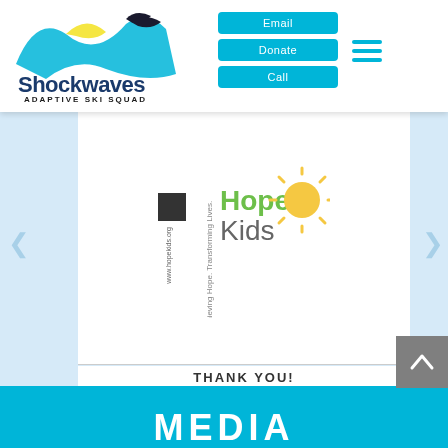[Figure (logo): Shockwaves Adaptive Ski Squad logo with wave graphic and text]
[Figure (screenshot): Navigation buttons: Email, Donate, Call in cyan, plus hamburger menu icon]
[Figure (logo): HopeKids logo with sun graphic and tagline, with QR code and website URL www.hopekids.org]
THANK YOU!
[Figure (photo): Photo of a man in a purple Team Riley shirt smiling with a child in a pink hat seated in a stroller, at an outdoor event]
MEDIA